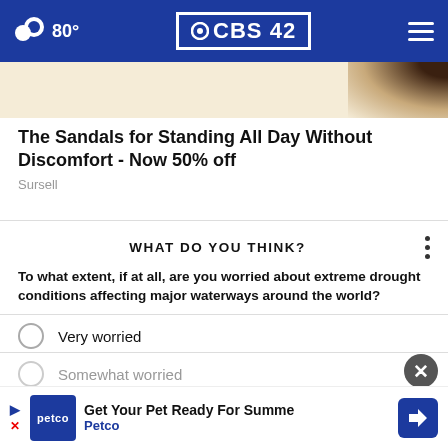80° CBS 42
[Figure (photo): Partial view of a sandal advertisement image with warm beige/tan background and dark object in upper right corner]
The Sandals for Standing All Day Without Discomfort - Now 50% off
Sursell
WHAT DO YOU THINK?
To what extent, if at all, are you worried about extreme drought conditions affecting major waterways around the world?
Very worried
Somewhat worried
Not worried
Other / No opinion
[Figure (screenshot): Bottom advertisement banner: Get Your Pet Ready For Summer - Petco, with Petco logo and navigation arrow icon]